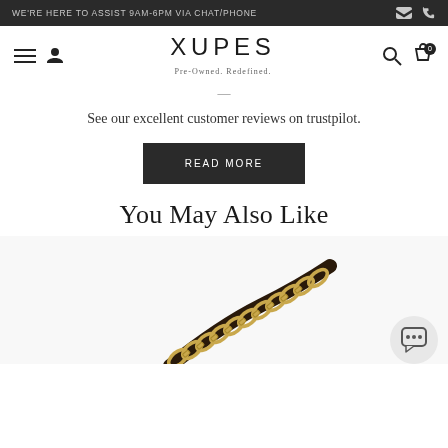WE'RE HERE TO ASSIST 9AM-6PM VIA CHAT/PHONE
XUPES — Pre-Owned. Redefined.
See our excellent customer reviews on trustpilot.
READ MORE
You May Also Like
[Figure (photo): Product photo showing a gold chain and leather strap of a luxury handbag against a white background, with a chat bubble icon in the lower right corner.]